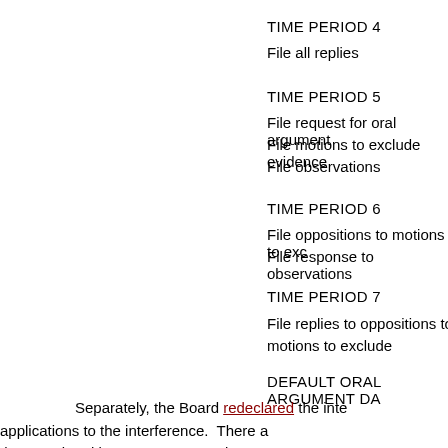TIME PERIOD 4
File all replies
TIME PERIOD 5
File request for oral argument
File motions to exclude evidence
File observations
TIME PERIOD 6
File oppositions to motions to exc…
File response to observations
TIME PERIOD 7
File replies to oppositions to motions to exclude
DEFAULT ORAL ARGUMENT DA…
Separately, the Board redeclared the inte… applications to the interference. There a… the Broad and its co-owners remain Sen… (although as the Board noted in its accor… depending on the outcome of the motion… were there any other changes in the pate… accorded priority benefits nor the claims